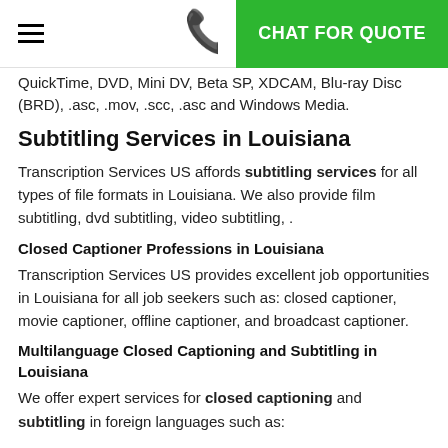CHAT FOR QUOTE
QuickTime, DVD, Mini DV, Beta SP, XDCAM, Blu-ray Disc (BRD), .asc, .mov, .scc, .asc and Windows Media.
Subtitling Services in Louisiana
Transcription Services US affords subtitling services for all types of file formats in Louisiana. We also provide film subtitling, dvd subtitling, video subtitling, .
Closed Captioner Professions in Louisiana
Transcription Services US provides excellent job opportunities in Louisiana for all job seekers such as: closed captioner, movie captioner, offline captioner, and broadcast captioner.
Multilanguage Closed Captioning and Subtitling in Louisiana
We offer expert services for closed captioning and subtitling in foreign languages such as: